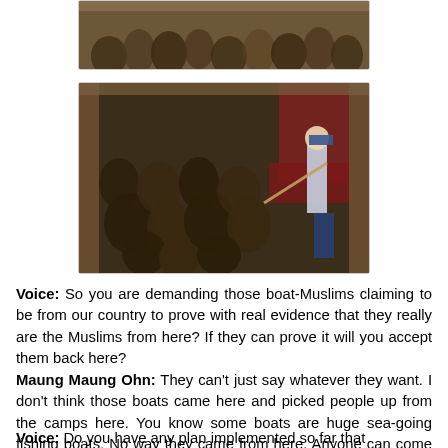[Figure (photo): Partial view of a crowded boat with many people crammed together, partially visible at top of page.]
[Figure (photo): A crowded boat packed with many people, with an official or authority figure standing to the right holding a pole or stick, taken at night or low light conditions.]
Voice: So you are demanding those boat-Muslims claiming to be from our country to prove with real evidence that they really are the Muslims from here? If they can prove it will you accept them back here?
Maung Maung Ohn: They can't just say whatever they want. I don't think those boats came here and picked people up from the camps here. You know some boats are huge sea-going fishing boats. No way they came from here. Anyone can come and look at our IDP camps to find out.
Voice: Do you have any plan implemented so far that